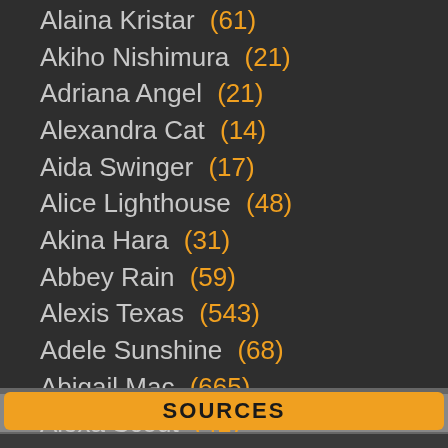Alaina Kristar (61)
Akiho Nishimura (21)
Adriana Angel (21)
Alexandra Cat (14)
Aida Swinger (17)
Alice Lighthouse (48)
Akina Hara (31)
Abbey Rain (59)
Alexis Texas (543)
Adele Sunshine (68)
Abigail Mac (665)
Alexa Scout (41)
SOURCES